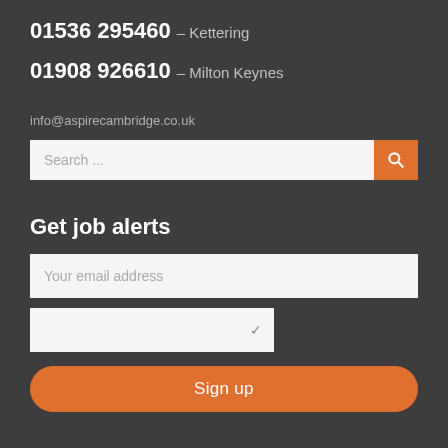01536 295460 – Kettering
01908 926610 – Milton Keynes
info@aspirecambridge.co.uk
[Figure (screenshot): Search input field with orange search button]
Get job alerts
[Figure (screenshot): Email address input field, dropdown selector, and orange Sign up button]